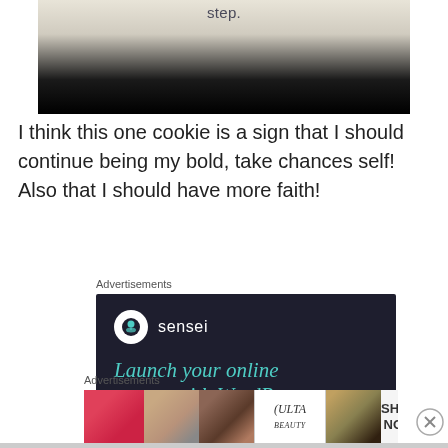[Figure (photo): Partial photo showing text 'step.' at top on a light background, with lower portion blacked out]
I think this one cookie is a sign that I should continue being my bold, take chances self! Also that I should have more faith!
Advertisements
[Figure (screenshot): Sensei advertisement: dark navy background with Sensei logo (tree icon in white circle) and text 'Launch your online course with WordPress' in teal italic font]
Advertisements
[Figure (screenshot): ULTA beauty advertisement banner with makeup product photos, ULTA logo, and 'SHOP NOW' button]